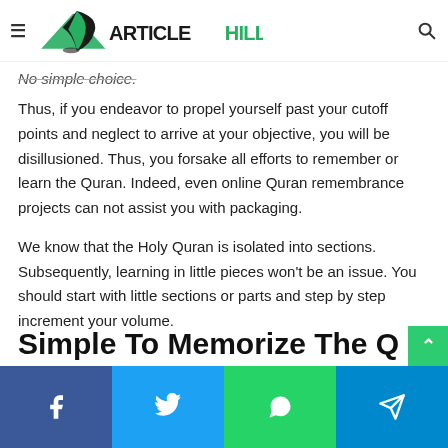ArticleHills
No simple choice.
Thus, if you endeavor to propel yourself past your cutoff points and neglect to arrive at your objective, you will be disillusioned. Thus, you forsake all efforts to remember or learn the Quran. Indeed, even online Quran remembrance projects can not assist you with packaging.
We know that the Holy Quran is isolated into sections. Subsequently, learning in little pieces won't be an issue. You should start with little sections or parts and step by step increment your volume.
Simple To Memorize The Q...
Facebook Twitter WhatsApp Telegram